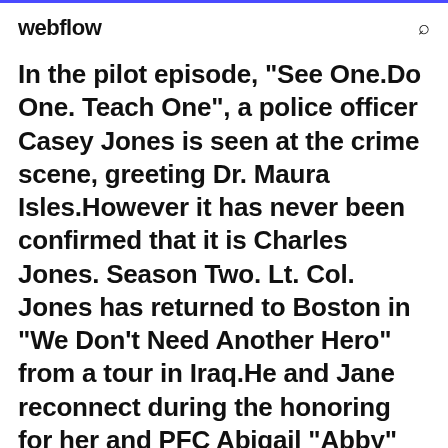webflow
In the pilot episode, "See One.Do One. Teach One", a police officer Casey Jones is seen at the crime scene, greeting Dr. Maura Isles.However it has never been confirmed that it is Charles Jones. Season Two. Lt. Col. Jones has returned to Boston in "We Don't Need Another Hero" from a tour in Iraq.He and Jane reconnect during the honoring for her and PFC Abigail "Abby"